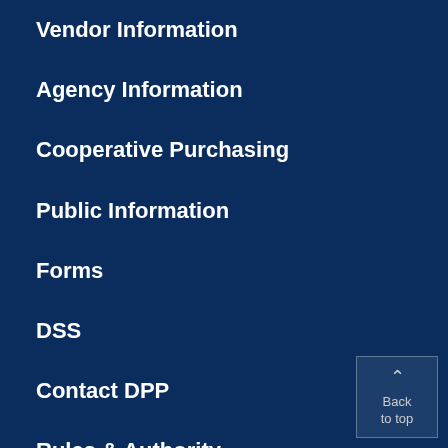Vendor Information
Agency Information
Cooperative Purchasing
Public Information
Forms
DSS
Contact DPP
Rules & Authority
Proposed Rules
Reports
Rule Comments
Rule e-Notification